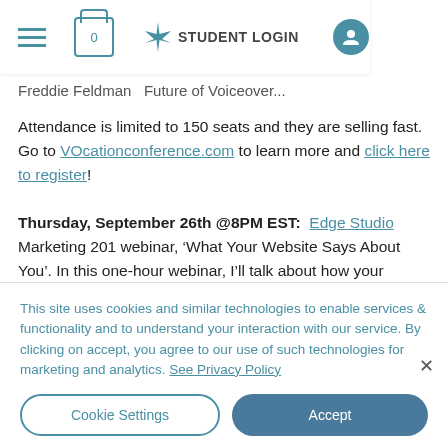STUDENT LOGIN
Freddie Feldman  Future of Voiceover
Attendance is limited to 150 seats and they are selling fast. Go to VOcationconference.com to learn more and click here to register!
Thursday, September 26th @8PM EST: Edge Studio Marketing 201 webinar, ‘What Your Website Says About You’. In this one-hour webinar, I’ll talk about how your website can help you gain or lose clients without you
This site uses cookies and similar technologies to enable services & functionality and to understand your interaction with our service. By clicking on accept, you agree to our use of such technologies for marketing and analytics. See Privacy Policy
Cookie Settings
Accept